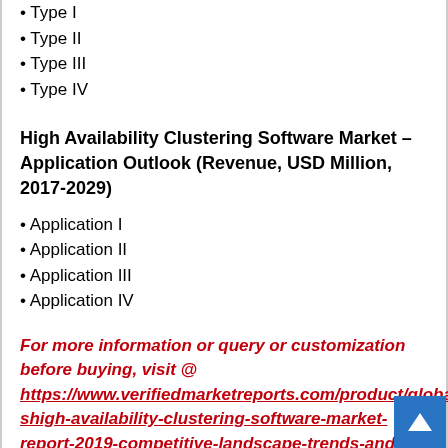• Type I
• Type II
• Type III
• Type IV
High Availability Clustering Software Market – Application Outlook (Revenue, USD Million, 2017-2029)
• Application I
• Application II
• Application III
• Application IV
For more information or query or customization before buying, visit @ https://www.verifiedmarketreports.com/product/global-shigh-availability-clustering-software-market-report-2019-competitive-landscape-trends-and-opportunities/